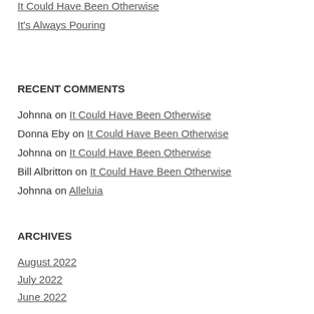It Could Have Been Otherwise
It's Always Pouring
RECENT COMMENTS
Johnna on It Could Have Been Otherwise
Donna Eby on It Could Have Been Otherwise
Johnna on It Could Have Been Otherwise
Bill Albritton on It Could Have Been Otherwise
Johnna on Alleluia
ARCHIVES
August 2022
July 2022
June 2022